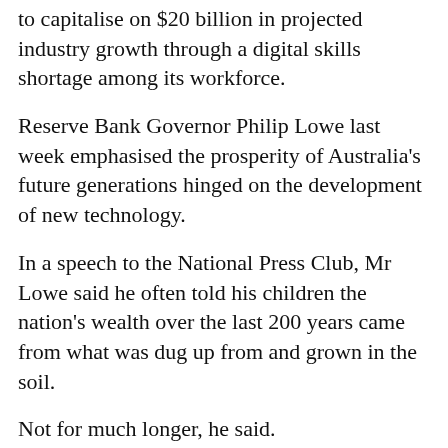to capitalise on $20 billion in projected industry growth through a digital skills shortage among its workforce.
Reserve Bank Governor Philip Lowe last week emphasised the prosperity of Australia's future generations hinged on the development of new technology.
In a speech to the National Press Club, Mr Lowe said he often told his children the nation's wealth over the last 200 years came from what was dug up from and grown in the soil.
Not for much longer, he said.
“Over the next 200 years, it’s going to be what comes out of here,” Mr Lowe said on Wednesday, pointing to his head, “Not what comes out of the land.”
“I make sure I tell my kids to study